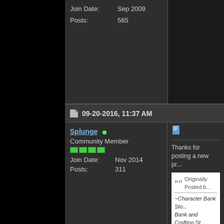| Join Date: | Sep 2009 |
| Posts: | 565 |
09-20-2016, 11:37 AM
Splunge • Community Member
| Join Date: | Nov 2014 |
| Posts: | 311 |
[Figure (other): Document/page icon]
Thanks for posting a new pr...
Originally Posted b...
-Character Bank Sto... Bank and Crafting St... and functionality, this ... future.
While it would be nice to hav... with the current shared bank... bank interface, but I can only... store them in my character b... working through a few epic p... when I hit level 26. It also do... them when I open the bank.... so that I don't have to bother...